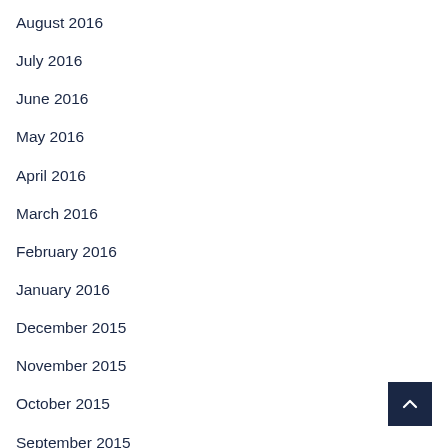August 2016
July 2016
June 2016
May 2016
April 2016
March 2016
February 2016
January 2016
December 2015
November 2015
October 2015
September 2015
August 2015